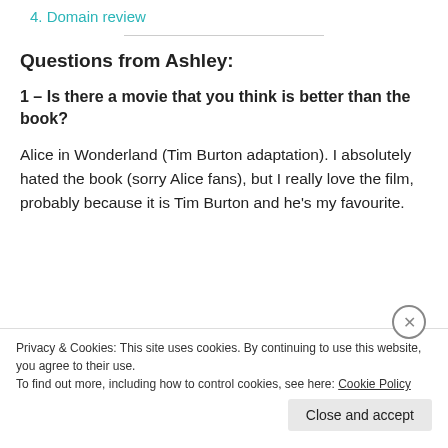4. Domain review
Questions from Ashley:
1 – Is there a movie that you think is better than the book?
Alice in Wonderland (Tim Burton adaptation). I absolutely hated the book (sorry Alice fans), but I really love the film, probably because it is Tim Burton and he's my favourite.
Privacy & Cookies: This site uses cookies. By continuing to use this website, you agree to their use.
To find out more, including how to control cookies, see here: Cookie Policy